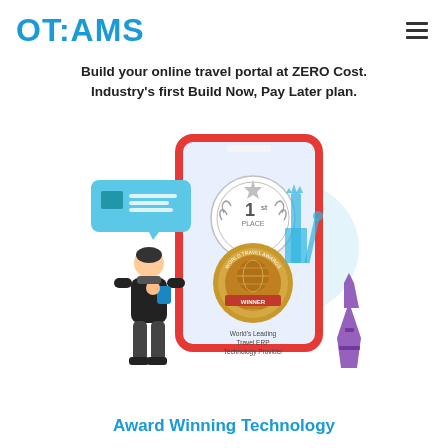OTIAMS
Build your online travel portal at ZERO Cost. Industry's first Build Now, Pay Later plan.
[Figure (illustration): Marketing illustration showing a person using a mobile device next to a large smartphone/tablet displaying a World Travel Awards 2020 Winner badge for World's Leading Travel ERP Technology Provider, with a 1st Place medal, Statue of Liberty silhouette, and Eiffel Tower silhouette in the background.]
Award Winning Technology